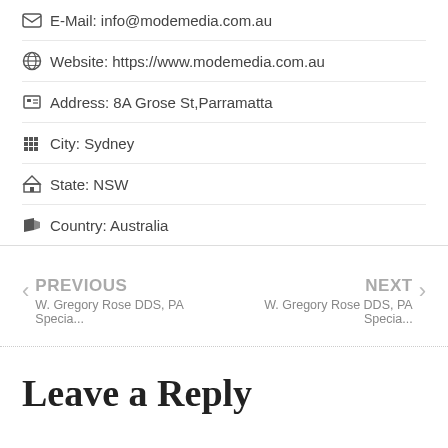E-Mail: info@modemedia.com.au
Website: https://www.modemedia.com.au
Address: 8A Grose St,Parramatta
City: Sydney
State: NSW
Country: Australia
PREVIOUS
W. Gregory Rose DDS, PA Specia...
NEXT
W. Gregory Rose DDS, PA Specia...
Leave a Reply